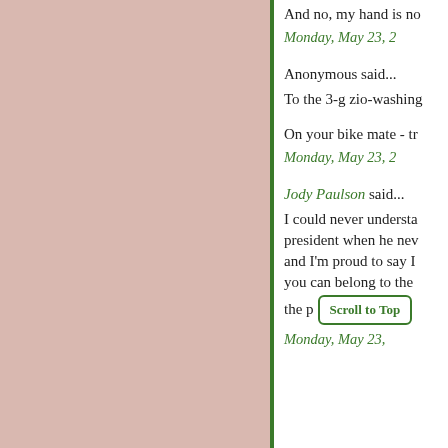And no, my hand is no
Monday, May 23, 2
Anonymous said...
To the 3-g zio-washing
On your bike mate - tr
Monday, May 23, 2
Jody Paulson said...
I could never understa president when he nev and I'm proud to say I you can belong to the the p
Scroll to Top
Monday, May 23,